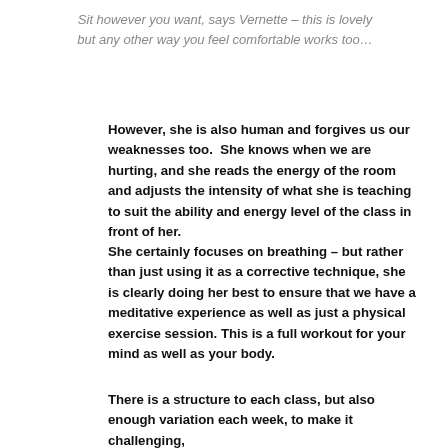Sit however you want, says Vernette – this is lovely but any other way you feel comfortable works too…
However, she is also human and forgives us our weaknesses too.  She knows when we are hurting, and she reads the energy of the room and adjusts the intensity of what she is teaching to suit the ability and energy level of the class in front of her.
She certainly focuses on breathing – but rather than just using it as a corrective technique, she is clearly doing her best to ensure that we have a meditative experience as well as just a physical exercise session. This is a full workout for your mind as well as your body.
There is a structure to each class, but also enough variation each week, to make it challenging,